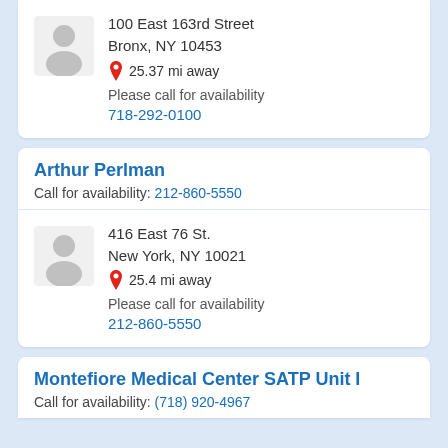100 East 163rd Street, Bronx, NY 10453, 25.37 mi away, Please call for availability, 718-292-0100
Arthur Perlman
Call for availability: 212-860-5550
416 East 76 St., New York, NY 10021, 25.4 mi away, Please call for availability, 212-860-5550
Montefiore Medical Center SATP Unit I
Call for availability: (718) 920-4967